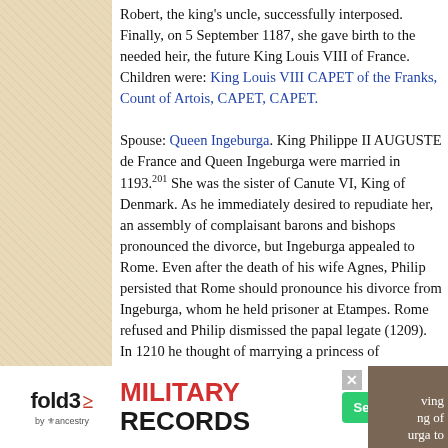Robert, the king's uncle, successfully interposed. Finally, on 5 September 1187, she gave birth to the needed heir, the future King Louis VIII of France. Children were: King Louis VIII CAPET of the Franks, Count of Artois, CAPET, CAPET.
Spouse: Queen Ingeburga. King Philippe II AUGUSTE de France and Queen Ingeburga were married in 1193.201 She was the sister of Canute VI, King of Denmark. As he immediately desired to repudiate her, an assembly of complaisant barons and bishops pronounced the divorce, but Ingeburga appealed to Rome. Even after the death of his wife Agnes, Philip persisted that Rome should pronounce his divorce from Ingeburga, whom he held prisoner at Etampes. Rome refused and Philip dismissed the papal legate (1209). In 1210 he thought of marrying a princess of Thuringia, and in 1212 renewed his importunities for the divorce with the legate,
[Figure (screenshot): Fold3 by Ancestry advertisement banner for Military Records with Search Now button and historical photo]